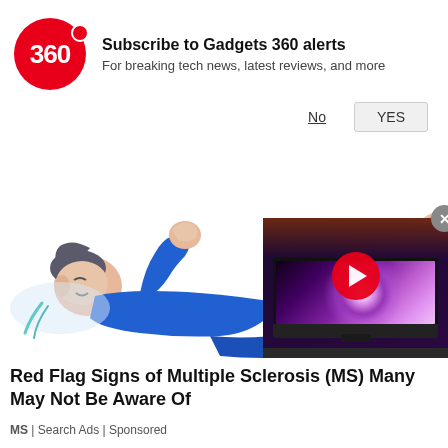Subscribe to Gadgets 360 alerts
For breaking tech news, latest reviews, and more
[Figure (illustration): Person lying down in distress wearing blue clothing, with arms raised, illustrated style for MS advertisement]
[Figure (screenshot): Video player thumbnail showing a TV with a galaxy/space image on screen and a red play button overlay]
Red Flag Signs of Multiple Sclerosis (MS) Many May Not Be Aware Of
MS | Search Ads | Sponsored